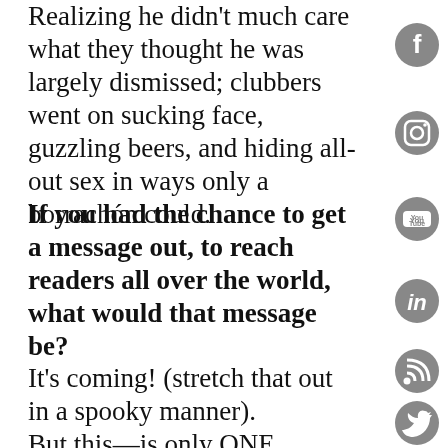Realizing he didn't much care what they thought he was largely dismissed; clubbers went on sucking face, guzzling beers, and hiding all-out sex in ways only a borrachón could.
If you had the chance to get a message out, to reach readers all over the world, what would that message be?
It's coming! (stretch that out in a spooky manner).
But this—is only ONE perspective, ONE possibility for our future. It really